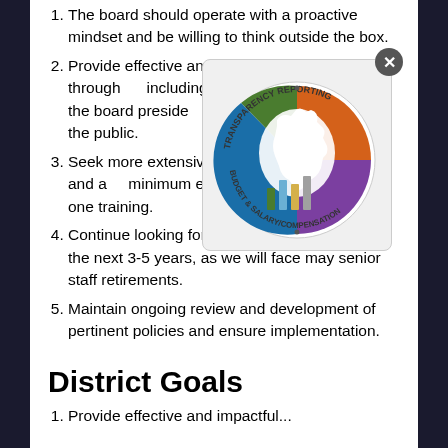The board should operate with a proactive mindset and be willing to think outside the box.
Provide effective and impactful communications through all channels, including between the superintendent, the board, the board president, individual board members, and the community and the public.
Seek more extensive board training to enhance our skills and at a minimum each board member should attend at least one training.
Continue looking forward to district planning for the next 3-5 years, as we will face may senior staff retirements.
Maintain ongoing review and development of pertinent policies and ensure implementation.
[Figure (logo): Michigan Transparency Reporting Budget & Salary/Compensation circular logo with Michigan state outline and bar chart icons]
District Goals
Provide effective and impactful...